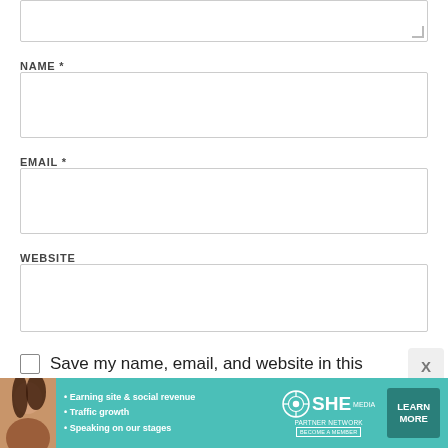[Figure (screenshot): Partial view of a text area input box at the top of the page, partially cropped]
NAME *
[Figure (screenshot): Name input field box (empty)]
EMAIL *
[Figure (screenshot): Email input field box (empty)]
WEBSITE
[Figure (screenshot): Website input field box (empty)]
Save my name, email, and website in this
[Figure (infographic): SHE Partner Network advertisement banner with woman's photo, bullet points: Earning site & social revenue, Traffic growth, Speaking on our stages. SHE logo and LEARN MORE button.]